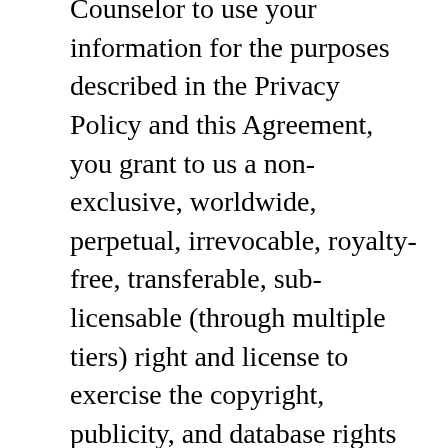Counselor to use your information for the purposes described in the Privacy Policy and this Agreement, you grant to us a non-exclusive, worldwide, perpetual, irrevocable, royalty-free, transferable, sub-licensable (through multiple tiers) right and license to exercise the copyright, publicity, and database rights you have in your Information, and to use, copy, perform, display and distribute such Information to prepare derivative works, or incorporate into other works, such Information, in any media now known or not currently known. Hi Counselor does not assert ownership over your Information. As between you and Hi Counselor, subject to the rights granted to us in this Agreement, you retain full ownership of all of your Information and any intellectual property rights or other proprietary rights associated with your Information except as